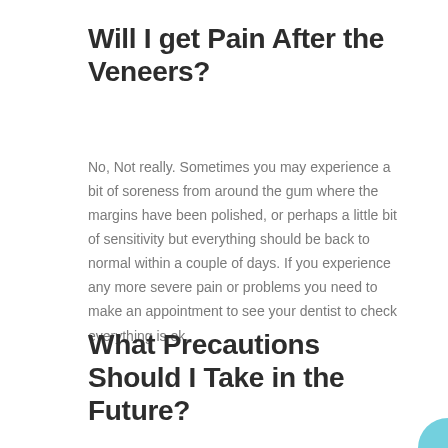Will I get Pain After the Veneers?
No, Not really. Sometimes you may experience a bit of soreness from around the gum where the margins have been polished, or perhaps a little bit of sensitivity but everything should be back to normal within a couple of days. If you experience any more severe pain or problems you need to make an appointment to see your dentist to check everything is ok.
What Precautions Should I Take in the Future?